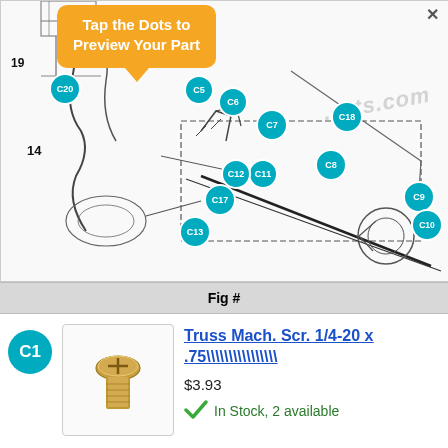[Figure (schematic): Engineering diagram of machine parts with labeled callout dots: C1, C5, C6, C7, C8, C9, C10, C11, C12, C13, C17, C18, C20 and numbers 14, 19. Orange tooltip bubble reads 'Tap the Dots to Preview Your Part'.]
Fig #
C1
[Figure (photo): Photo of a truss machine screw (Phillips head, gold/bronze color)]
Truss Mach. Scr. 1/4-20 x .75\\\\\\\\\\\\\\\\
$3.93
In Stock, 2 available